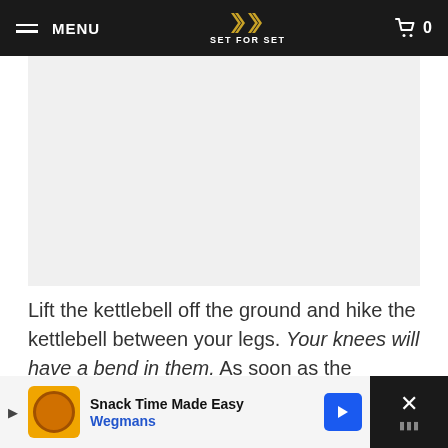MENU | SET FOR SET | 0
[Figure (photo): Light gray placeholder image area for a kettlebell exercise photo]
Lift the kettlebell off the ground and hike the kettlebell between your legs. Your knees will have a bend in them. As soon as the kettlebell fully passes behind your legs, explosively drive your hips forward to propel the kettlebell into the air. The kettlebell will come up, with your arms still fully extended, to about upper shoulder or eye level (generally speaking, your
Snack Time Made Easy | Wegmans